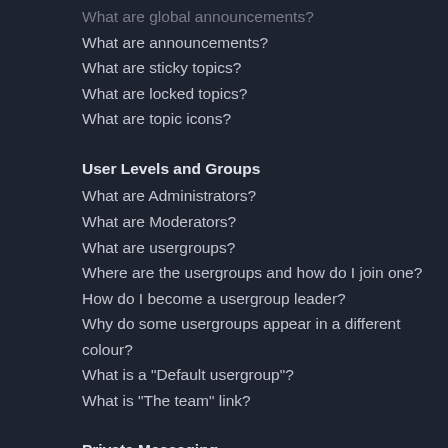What are global announcements?
What are announcements?
What are sticky topics?
What are locked topics?
What are topic icons?
User Levels and Groups
What are Administrators?
What are Moderators?
What are usergroups?
Where are the usergroups and how do I join one?
How do I become a usergroup leader?
Why do some usergroups appear in a different colour?
What is a "Default usergroup"?
What is "The team" link?
Private Messaging
I cannot send private messages!
I keep getting unwanted private messages!
I have received a spamming or abusive email from someone on this board!
Friends and Foes